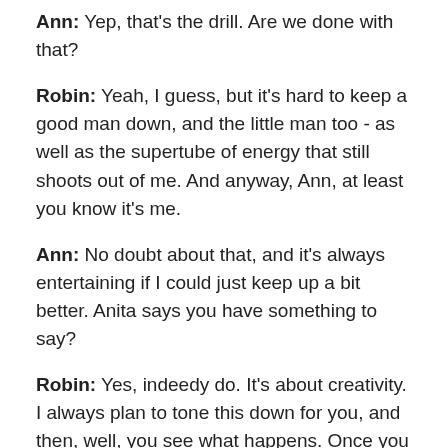Ann: Yep, that's the drill. Are we done with that?
Robin: Yeah, I guess, but it's hard to keep a good man down, and the little man too - as well as the supertube of energy that still shoots out of me. And anyway, Ann, at least you know it's me.
Ann: No doubt about that, and it's always entertaining if I could just keep up a bit better. Anita says you have something to say?
Robin: Yes, indeedy do. It's about creativity. I always plan to tone this down for you, and then, well, you see what happens. Once you take the